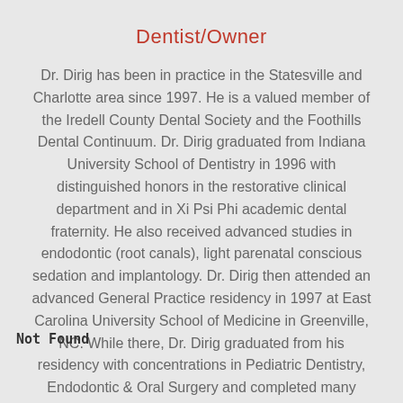Dentist/Owner
Dr. Dirig has been in practice in the Statesville and Charlotte area since 1997. He is a valued member of the Iredell County Dental Society and the Foothills Dental Continuum. Dr. Dirig graduated from Indiana University School of Dentistry in 1996 with distinguished honors in the restorative clinical department and in Xi Psi Phi academic dental fraternity. He also received advanced studies in endodontic (root canals), light parenatal conscious sedation and implantology. Dr. Dirig then attended an advanced General Practice residency in 1997 at East Carolina University School of Medicine in Greenville, NC. While there, Dr. Dirig graduated from his residency with concentrations in Pediatric Dentistry, Endodontic & Oral Surgery and completed many dental
Not Found